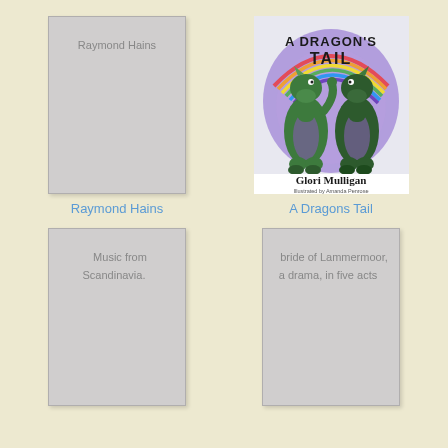[Figure (illustration): Book cover placeholder with gray background and text 'Raymond Hains']
Raymond Hains
[Figure (illustration): Book cover of 'A Dragon's Tail' by Glori Mulligan, illustrated by Amanda Penrose. Shows two green dragons with purple scales under a rainbow on purple background. Title in dark curved text at top.]
A Dragons Tail
[Figure (illustration): Book cover placeholder with gray background and text 'Music from Scandinavia.']
[Figure (illustration): Book cover placeholder with gray background and text 'bride of Lammermoor, a drama, in five acts']